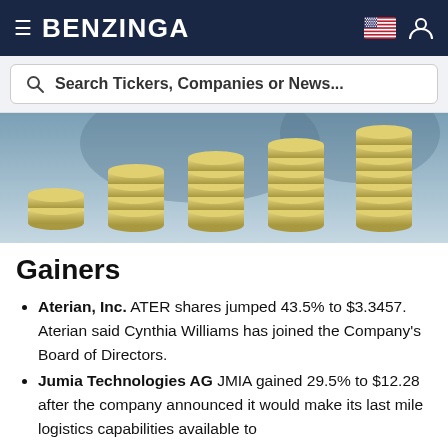BENZINGA
Search Tickers, Companies or News...
[Figure (photo): Stacked coins or bills arranged in ascending height columns against a blurred blue background, suggesting financial growth.]
Gainers
Aterian, Inc. ATER shares jumped 43.5% to $3.3457. Aterian said Cynthia Williams has joined the Company's Board of Directors.
Jumia Technologies AG JMIA gained 29.5% to $12.28 after the company announced it would make its last mile logistics capabilities available to